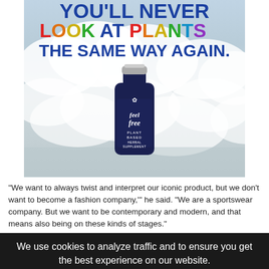[Figure (illustration): Advertisement for 'feel free' plant-based herbal supplement. Text reads 'YOU'LL NEVER LOOK AT PLANTS THE SAME WAY AGAIN.' with a dark blue bottle against a cloudy sky background. The bottle is labeled 'feel free PLANT BASED HERBAL SUPPLEMENT'.]
"We want to always twist and interpret our iconic product, but we don't want to become a fashion company,'" he said. "We are a sportswear company. But we want to be contemporary and modern, and that means also being on these kinds of stages."
We use cookies to analyze traffic and to ensure you get the best experience on our website. MORE INFO GOT IT!